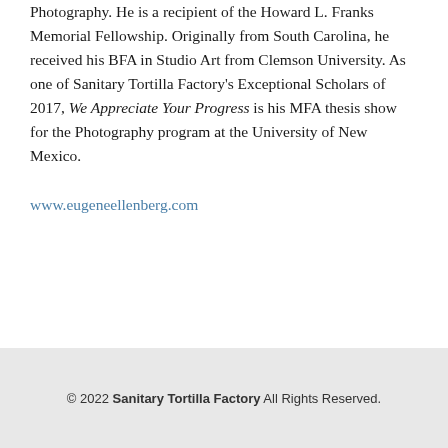Photography. He is a recipient of the Howard L. Franks Memorial Fellowship. Originally from South Carolina, he received his BFA in Studio Art from Clemson University. As one of Sanitary Tortilla Factory's Exceptional Scholars of 2017, We Appreciate Your Progress is his MFA thesis show for the Photography program at the University of New Mexico.
www.eugeneellenberg.com
© 2022 Sanitary Tortilla Factory All Rights Reserved.